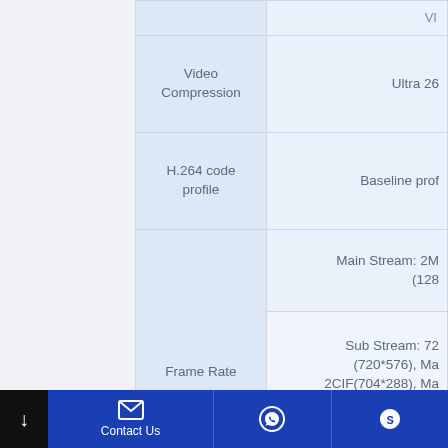| Feature | Value |
| --- | --- |
| Video Compression | Ultra 26... |
| H.264 code profile | Baseline prof... |
| Frame Rate | Main Stream: 2M... (128... |
| Frame Rate | Sub Stream: 72... (720*576), Ma... 2CIF(704*288), Ma... |
| Frame Rate | Third Stream: D1 (7... 30fps; 2CIF(704*28... |
| Video Bit Rate | 12... |
Contact Us